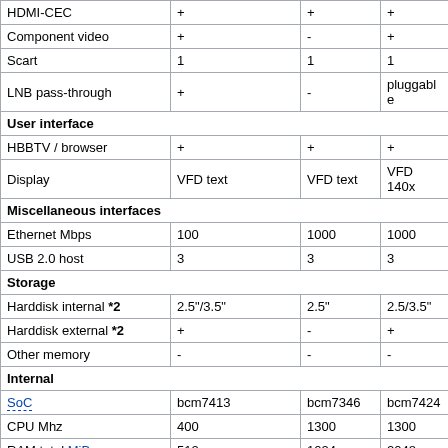| Feature | Col1 | Col2 | Col3 |
| --- | --- | --- | --- |
| HDMI-CEC | + | + | + |
| Component video | + | - | + |
| Scart | 1 | 1 | 1 |
| LNB pass-through | + | - | pluggable |
| User interface |  |  |  |
| HBBTV / browser | + | + | + |
| Display | VFD text | VFD text | VFD 140x |
| Miscellaneous interfaces |  |  |  |
| Ethernet Mbps | 100 | 1000 | 1000 |
| USB 2.0 host | 3 | 3 | 3 |
| Storage |  |  |  |
| Harddisk internal *2 | 2.5"/3.5" | 2.5" | 2.5/3.5" |
| Harddisk external *2 | + | - | + |
| Other memory | - | - | - |
| Internal |  |  |  |
| SoC | bcm7413 | bcm7346 | bcm7424 |
| CPU Mhz | 400 | 1300 | 1300 |
| RAM total MiB | 512 | 1024 | 2048 |
| RAM available MiB |  | 570 | 965 |
| Flash size MiB | 1024 | 256 | 1024 |